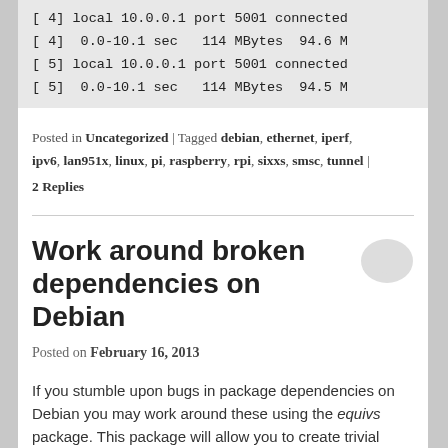[Figure (screenshot): Terminal/code block showing iperf network test output lines: [ 4] local 10.0.0.1 port 5001 connected / [ 4] 0.0-10.1 sec   114 MBytes  94.6 M... / [ 5] local 10.0.0.1 port 5001 connected / [ 5] 0.0-10.1 sec   114 MBytes  94.5 M...]
Posted in Uncategorized | Tagged debian, ethernet, iperf, ipv6, lan951x, linux, pi, raspberry, rpi, sixxs, smsc, tunnel | 2 Replies
Work around broken dependencies on Debian
Posted on February 16, 2013
If you stumble upon bugs in package dependencies on Debian you may work around these using the equivs package. This package will allow you to create trivial Debian packages.
You need to create the controle file and then build the package :